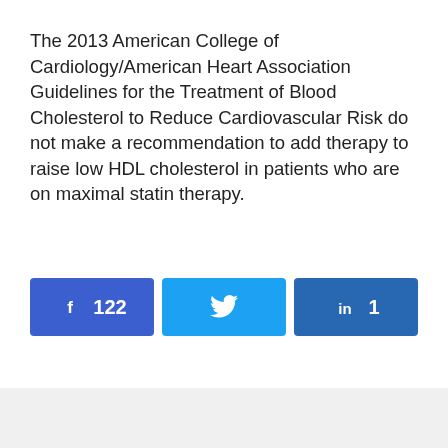The 2013 American College of Cardiology/American Heart Association Guidelines for the Treatment of Blood Cholesterol to Reduce Cardiovascular Risk do not make a recommendation to add therapy to raise low HDL cholesterol in patients who are on maximal statin therapy.
[Figure (infographic): Social sharing buttons: Facebook with 122 shares, Twitter (no count shown), LinkedIn with 1 share]